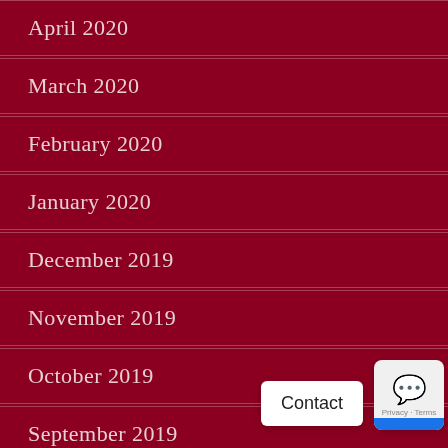April 2020
March 2020
February 2020
January 2020
December 2019
November 2019
October 2019
September 2019
August 2019